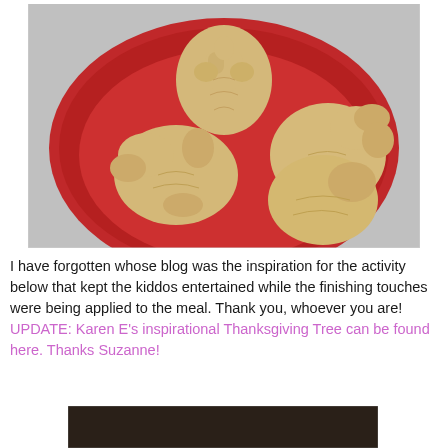[Figure (photo): Photograph of four biscuit/shortbread cookies shaped like turkeys and trees on a red plate, viewed from above.]
I have forgotten whose blog was the inspiration for the activity below that kept the kiddos entertained while the finishing touches were being applied to the meal. Thank you, whoever you are!
UPDATE: Karen E's inspirational Thanksgiving Tree can be found here. Thanks Suzanne!
[Figure (photo): Partial view of a second photo at the bottom of the page, showing a dark background.]